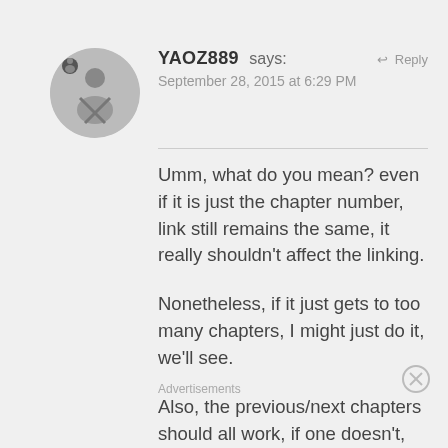YAOZ889 says:
September 28, 2015 at 6:29 PM
Reply
Umm, what do you mean? even if it is just the chapter number, link still remains the same, it really shouldn't affect the linking.
Nonetheless, if it just gets to too many chapters, I might just do it, we'll see.
Also, the previous/next chapters should all work, if one doesn't, plz pm
Advertisements